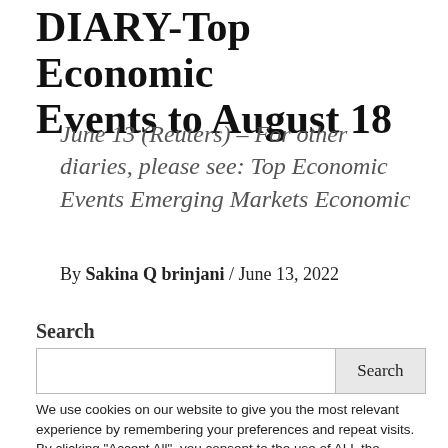DIARY-Top Economic Events to August 18
June 13 (Reuters) – For other diaries, please see: Top Economic Events Emerging Markets Economic
By Sakina Q brinjani / June 13, 2022
Search
We use cookies on our website to give you the most relevant experience by remembering your preferences and repeat visits. By clicking "Accept All", you consent to the use of ALL the cookies. However, you may visit "Cookie Settings" to provide a controlled consent.